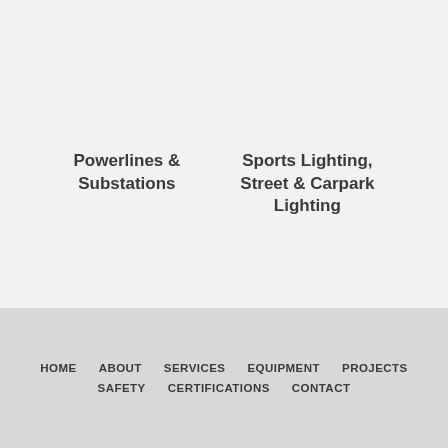Powerlines & Substations
Sports Lighting, Street & Carpark Lighting
HOME  ABOUT  SERVICES  EQUIPMENT  PROJECTS  SAFETY  CERTIFICATIONS  CONTACT